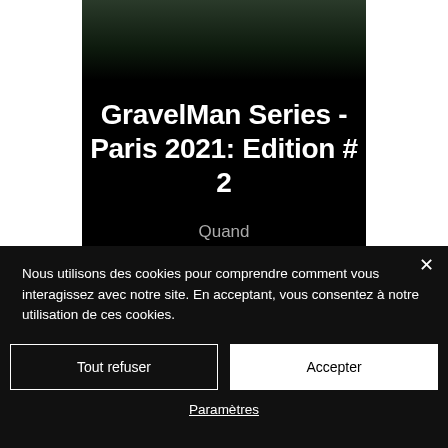[Figure (photo): Dark nature/forest photo strip partially visible at top of page]
GravelMan Series - Paris 2021: Edition # 2
Quand
Nous utilisons des cookies pour comprendre comment vous interagissez avec notre site. En acceptant, vous consentez à notre utilisation de ces cookies.
Tout refuser
Accepter
Paramètres